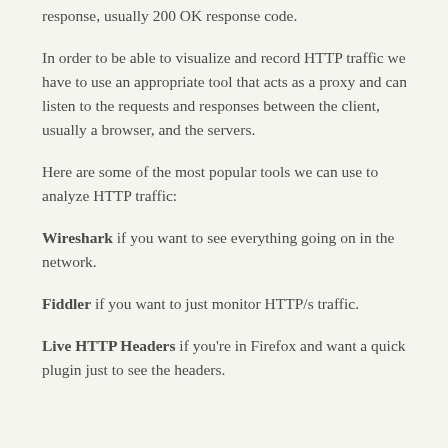response, usually 200 OK response code.
In order to be able to visualize and record HTTP traffic we have to use an appropriate tool that acts as a proxy and can listen to the requests and responses between the client, usually a browser, and the servers.
Here are some of the most popular tools we can use to analyze HTTP traffic:
Wireshark if you want to see everything going on in the network.
Fiddler if you want to just monitor HTTP/s traffic.
Live HTTP Headers if you're in Firefox and want a quick plugin just to see the headers.